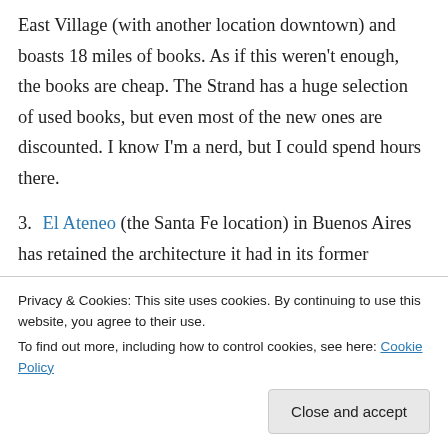East Village (with another location downtown) and boasts 18 miles of books. As if this weren't enough, the books are cheap. The Strand has a huge selection of used books, but even most of the new ones are discounted. I know I'm a nerd, but I could spend hours there.
3. El Ateneo (the Santa Fe location) in Buenos Aires has retained the architecture it had in its former incarnation as the Grand Splendid Theater. Its four stories of books, music, and movies are as exciting and lovely as the ornate theater in which they reside. There is
Privacy & Cookies: This site uses cookies. By continuing to use this website, you agree to their use.
To find out more, including how to control cookies, see here: Cookie Policy